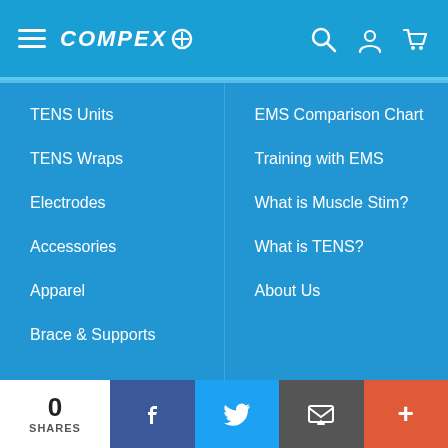COMPEX
TENS Units
EMS Comparison Chart
TENS Wraps
Training with EMS
Electrodes
What is Muscle Stim?
Accessories
What is TENS?
Apparel
About Us
Brace & Supports
COMMUNITY
NEED HELP?
Blog
Customer Service
#TuesdayTips
Order Status
0 SHARES